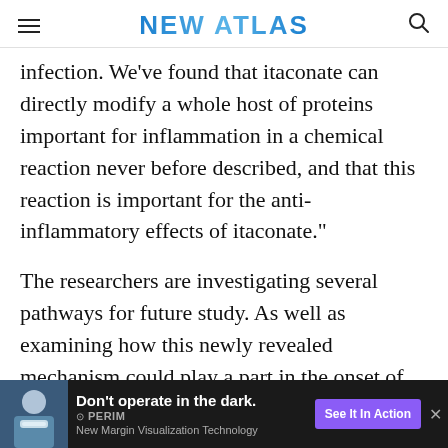NEW ATLAS
infection. We've found that itaconate can directly modify a whole host of proteins important for inflammation in a chemical reaction never before described, and that this reaction is important for the anti-inflammatory effects of itaconate."
The researchers are investigating several pathways for future study. As well as examining how this newly revealed mechanism could play a part in the onset of inflammatory diseases, it hopefully could lead to the development of new anti-inflammatory drugs that could treat everything from inflammatory bowel diseas
[Figure (other): Advertisement banner: 'Don't operate in the dark.' with Perimeter logo and 'See It In Action' button, featuring a photo of a surgeon wearing a mask.]